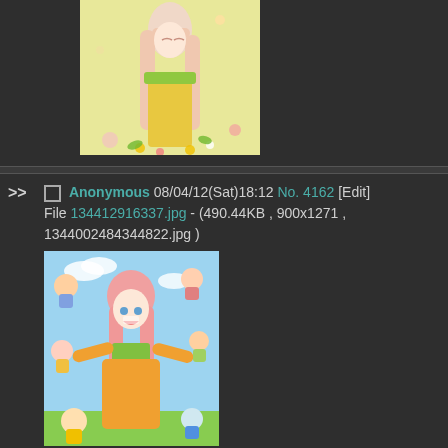[Figure (illustration): Top portion of an anime illustration showing a girl in a yellow dress with flowers, cut off at top]
>> Anonymous 08/04/12(Sat)18:12 No. 4162 [Edit]
File 134412916337.jpg - (490.44KB , 900x1271 ,
1344002484344822.jpg )
[Figure (illustration): Anime illustration of a pink-haired girl in an orange dress surrounded by small chibi characters, sky background]
>> Anonymous 08/04/12(Sat)18:13 No. 4163 [Edit]
File 134412919130.jpg - (145.80KB , 827x1034 ,
99814.jpg )
[Figure (illustration): Partial view of another anime illustration at bottom]